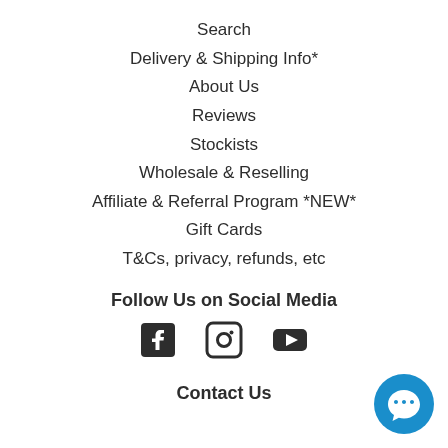Search
Delivery & Shipping Info*
About Us
Reviews
Stockists
Wholesale & Reselling
Affiliate & Referral Program *NEW*
Gift Cards
T&Cs, privacy, refunds, etc
Follow Us on Social Media
[Figure (illustration): Three social media icons: Facebook, Instagram, YouTube]
Contact Us
[Figure (illustration): Blue circular chat bubble button in bottom right corner]